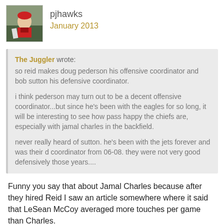pjhawks
January 2013
The Juggler wrote:
so reid makes doug pederson his offensive coordinator and bob sutton his defensive coordinator.

i think pederson may turn out to be a decent offensive coordinator...but since he's been with the eagles for so long, it will be interesting to see how pass happy the chiefs are, especially with jamal charles in the backfield.

never really heard of sutton. he's been with the jets forever and was their d coordinator from 06-08. they were not very good defensively those years....
Funny you say that about Jamal Charles because after they hired Reid I saw an article somewhere where it said that LeSean McCoy averaged more touches per game than Charles.